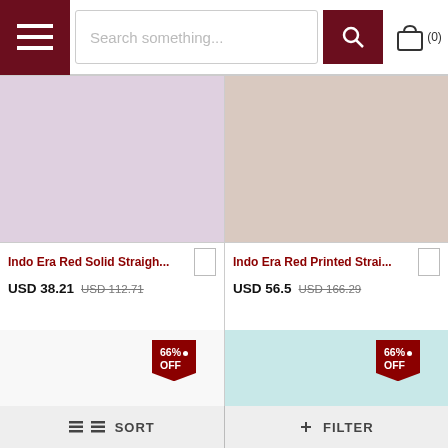Search something... (0)
[Figure (photo): Product image placeholder - light purple/lavender background for Indo Era Red Solid Straight item]
Indo Era Red Solid Straigh... USD 38.21 USD 112.71
[Figure (photo): Product image placeholder - light taupe/beige background for Indo Era Red Printed Straight item]
Indo Era Red Printed Strai... USD 56.5 USD 166.29
[Figure (photo): Product image placeholder - white/light background with 66% OFF badge]
[Figure (photo): Product image placeholder - light teal/cyan background with 66% OFF badge]
SORT   FILTER